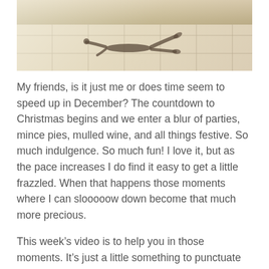[Figure (photo): A person doing a yoga pose (lying flat stretch/plank variation) on a wooden tiled floor, photographed from above with natural light]
My friends, is it just me or does time seem to speed up in December? The countdown to Christmas begins and we enter a blur of parties, mince pies, mulled wine, and all things festive. So much indulgence. So much fun! I love it, but as the pace increases I do find it easy to get a little frazzled. When that happens those moments where I can slooooow down become that much more precious.
This week's video is to help you in those moments. It's just a little something to punctuate the rush and let you relax and restore and get yourself present again for all the fun ahead. Try it now or tuck it away